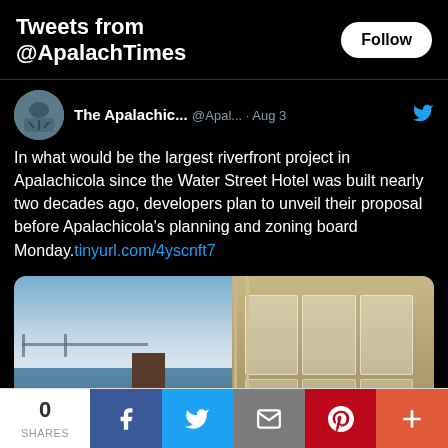Tweets from @ApalachTimes
The Apalachic... @Apal... · Aug 3
In what would be the largest riverfront project in Apalachicola since the Water Street Hotel was built nearly two decades ago, developers plan to unveil their proposal before Apalachicola's planning and zoning board Monday.tinyurl.com/4yscnft7
[Figure (photo): Waterfront photo showing a dock/pier extending over water with a bridge in the background on the left, and a wooden building exterior with windows and railings on the right.]
0 SHARES